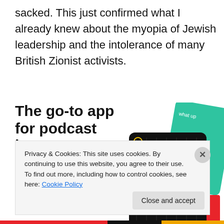sacked. This just confirmed what I already knew about the myopia of Jewish leadership and the intolerance of many British Zionist activists.
[Figure (illustration): Advertisement for a podcast app. Bold headline reads 'The go-to app for podcast lovers.' with a red 'Download now' link. Shows stylized app cards including a '99% Invisible' podcast card on a black grid background, a teal card with cursive text, and a blue card.]
Privacy & Cookies: This site uses cookies. By continuing to use this website, you agree to their use.
To find out more, including how to control cookies, see here: Cookie Policy